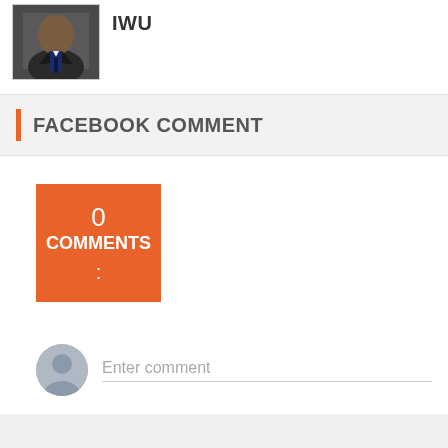[Figure (photo): Profile photo of a man in a suit and tie, cropped to show head and shoulders, with 'IWU' text label beside it]
FACEBOOK COMMENT
[Figure (infographic): Orange square box displaying '0 COMMENTS :' indicating zero comments count]
Enter comment